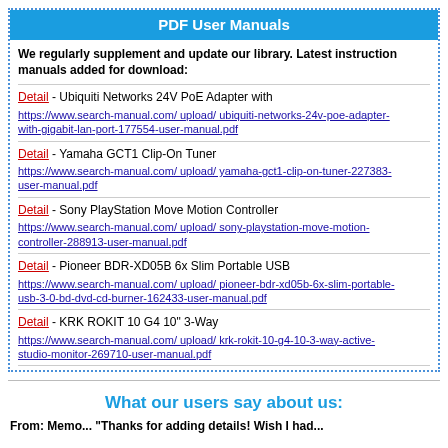PDF User Manuals
We regularly supplement and update our library. Latest instruction manuals added for download:
Detail - Ubiquiti Networks 24V PoE Adapter with https://www.search-manual.com/ upload/ ubiquiti-networks-24v-poe-adapter-with-gigabit-lan-port-177554-user-manual.pdf
Detail - Yamaha GCT1 Clip-On Tuner https://www.search-manual.com/ upload/ yamaha-gct1-clip-on-tuner-227383-user-manual.pdf
Detail - Sony PlayStation Move Motion Controller https://www.search-manual.com/ upload/ sony-playstation-move-motion-controller-288913-user-manual.pdf
Detail - Pioneer BDR-XD05B 6x Slim Portable USB https://www.search-manual.com/ upload/ pioneer-bdr-xd05b-6x-slim-portable-usb-3-0-bd-dvd-cd-burner-162433-user-manual.pdf
Detail - KRK ROKIT 10 G4 10" 3-Way https://www.search-manual.com/ upload/ krk-rokit-10-g4-10-3-way-active-studio-monitor-269710-user-manual.pdf
What our users say about us:
From: Memo... "Thanks for adding details! Wish I had...